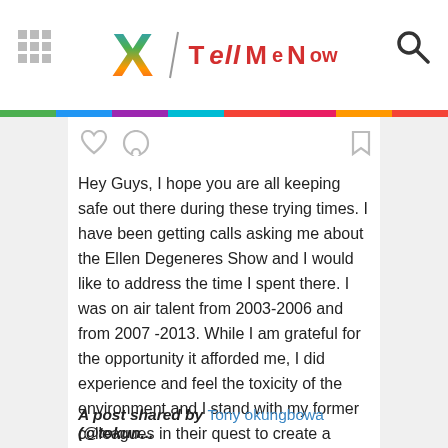X / TMN (Tell Me Now)
Hey Guys, I hope you are all keeping safe out there during these trying times. I have been getting calls asking me about the Ellen Degeneres Show and I would like to address the time I spent there. I was on air talent from 2003-2006 and from 2007 -2013. While I am grateful for the opportunity it afforded me, I did experience and feel the toxicity of the environment and I stand with my former colleagues in their quest to create a healthier and more inclusive workplace as the show moves forward.
A post shared by Tony okungbowa (@tokun...